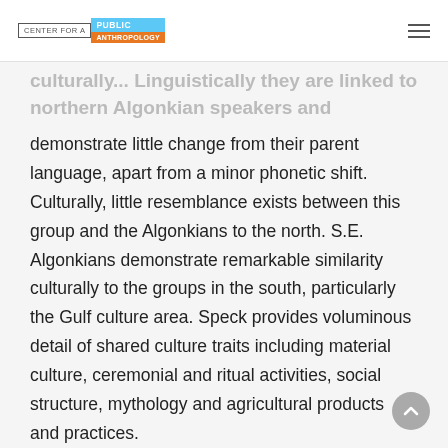CENTER FOR A PUBLIC ANTHROPOLOGY
culturally... Linguistically they are linked to northern Algonkian speakers and demonstrate little change from their parent language, apart from a minor phonetic shift. Culturally, little resemblance exists between this group and the Algonkians to the north. S.E. Algonkians demonstrate remarkable similarity culturally to the groups in the south, particularly the Gulf culture area. Speck provides voluminous detail of shared culture traits including material culture, ceremonial and ritual activities, social structure, mythology and agricultural products and practices.